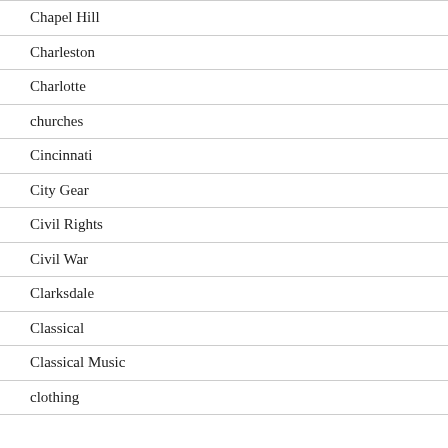Chapel Hill
Charleston
Charlotte
churches
Cincinnati
City Gear
Civil Rights
Civil War
Clarksdale
Classical
Classical Music
clothing